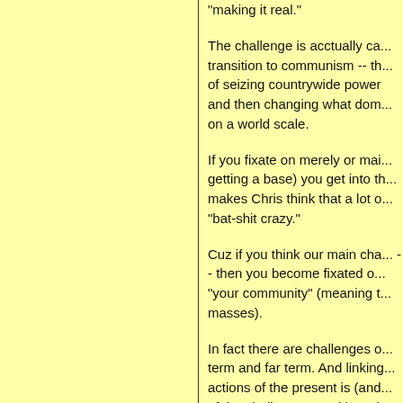"making it real."
The challenge is acctually ca... transition to communism -- th... of seizing countrywide power and then changing what dom... on a world scale.
If you fixate on merely or mai... getting a base) you get into th... makes Chris think that a lot o... "bat-shit crazy."
Cuz if you think our main cha... -- then you become fixated o... "your community" (meaning t... masses).
In fact there are challenges o... term and far term. And linking... actions of the present is (and... of the challenge -- making wh... living link."
If all you see is "organizing" a...